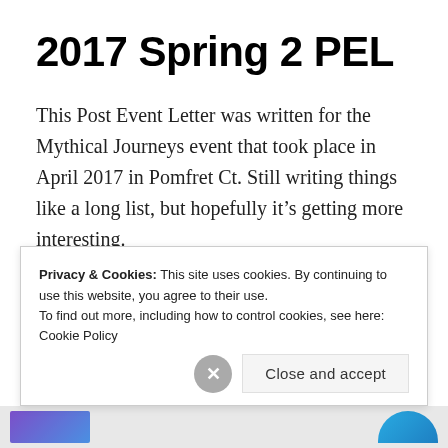2017 Spring 2 PEL
This Post Event Letter was written for the Mythical Journeys event that took place in April 2017 in Pomfret Ct. Still writing things like a long list, but hopefully it’s getting more interesting.
Continue reading
By JeremyTeague in 2017, larp, MJ | June 2, 2017 | 727 Words | Leave a comment
Privacy & Cookies: This site uses cookies. By continuing to use this website, you agree to their use. To find out more, including how to control cookies, see here: Cookie Policy
Close and accept